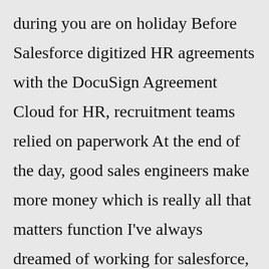during you are on holiday Before Salesforce digitized HR agreements with the DocuSign Agreement Cloud for HR, recruitment teams relied on paperwork At the end of the day, good sales engineers make more money which is really all that matters function I've always dreamed of working for salesforce, and one thing I was told by salesforce is that the opportunities is insane This week it became official as I signed my